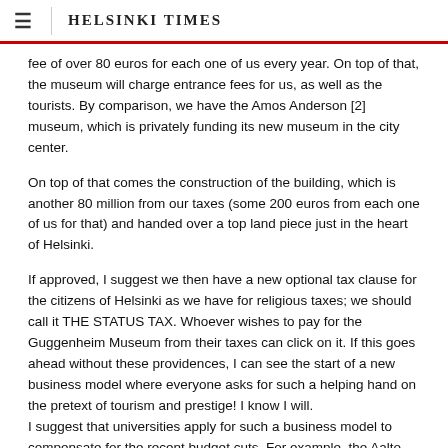HELSINKI TIMES
fee of over 80 euros for each one of us every year. On top of that, the museum will charge entrance fees for us, as well as the tourists. By comparison, we have the Amos Anderson [2] museum, which is privately funding its new museum in the city center.
On top of that comes the construction of the building, which is another 80 million from our taxes (some 200 euros from each one of us for that) and handed over a top land piece just in the heart of Helsinki.
If approved, I suggest we then have a new optional tax clause for the citizens of Helsinki as we have for religious taxes; we should call it THE STATUS TAX. Whoever wishes to pay for the Guggenheim Museum from their taxes can click on it. If this goes ahead without these providences, I can see the start of a new business model where everyone asks for such a helping hand on the pretext of tourism and prestige! I know I will. I suggest that universities apply for such a business model to compensate for the recent budget cuts. For example, the Aalto University with its Alvar Aalto designed buildings, which attracts many tourists to Helsinki, should apply for an equal sum on terms of a fair opportunity clause.
If Guggenheim wants to open a museum in Helsinki or anywhere else, they should bear their own costs.